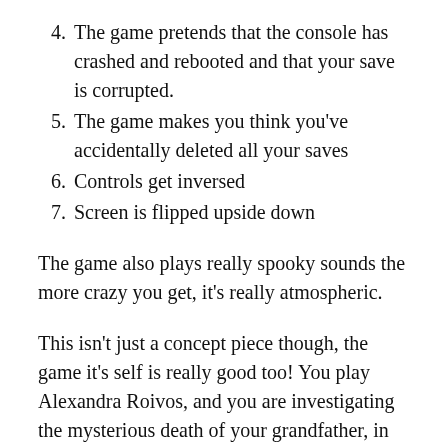4. The game pretends that the console has crashed and rebooted and that your save is corrupted.
5. The game makes you think you've accidentally deleted all your saves
6. Controls get inversed
7. Screen is flipped upside down
The game also plays really spooky sounds the more crazy you get, it's really atmospheric.
This isn't just a concept piece though, the game it's self is really good too! You play Alexandra Roivos, and you are investigating the mysterious death of your grandfather, in doing so you discover a book bound in human